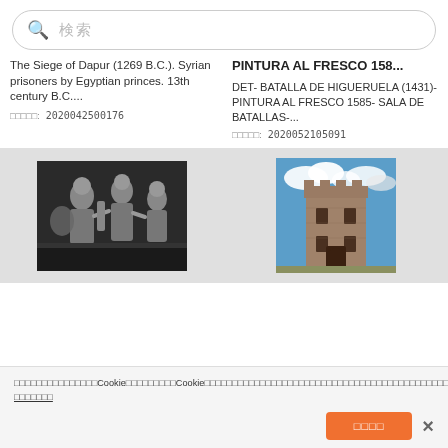🔍 検索
The Siege of Dapur (1269 B.C.). Syrian prisoners by Egyptian princes. 13th century B.C....
画像番号: 2020042500176
PINTURA AL FRESCO 158...
DET- BATALLA DE HIGUERUELA (1431)- PINTURA AL FRESCO 1585- SALA DE BATALLAS-...
画像番号: 2020052105091
[Figure (photo): Black and white photo of ancient sculpture showing battle scene with figures]
[Figure (photo): Color photo of a medieval castle tower against blue sky with clouds]
当サイトではCookieを利用しています。Cookieの利用に関する詳細については、クッキーに関するポリシーをご覧ください。引き続きこのサイトを使用することで、Cookieの使用に同意するものとします。 詳細を見る
同意します